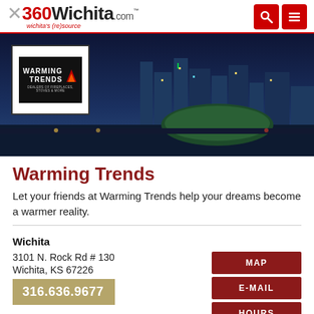360Wichita.com — wichita's (re)source
[Figure (photo): City skyline of Wichita at night with a Warming Trends logo overlay in top left corner]
Warming Trends
Let your friends at Warming Trends help your dreams become a warmer reality.
Wichita
3101 N. Rock Rd # 130
Wichita, KS 67226
316.636.9677
MAP
E-MAIL
HOURS